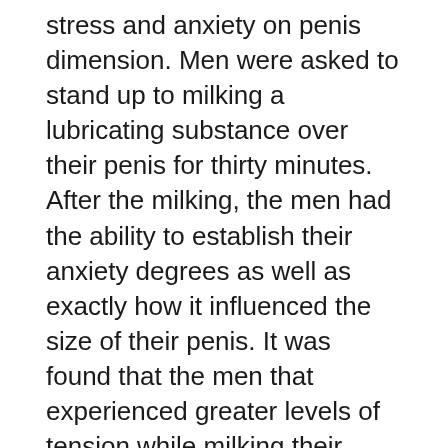stress and anxiety on penis dimension. Men were asked to stand up to milking a lubricating substance over their penis for thirty minutes. After the milking, the men had the ability to establish their anxiety degrees as well as exactly how it influenced the size of their penis. It was found that the men that experienced greater levels of tension while milking their penises had considerably larger penises. This study showed that anxiety can undoubtedly influence penis size, although the web link in between stress as well as penis girth was just indirect.
These researches reveal that there are some situations where a larger penis can aid you get a female to climax faster. Yet when it